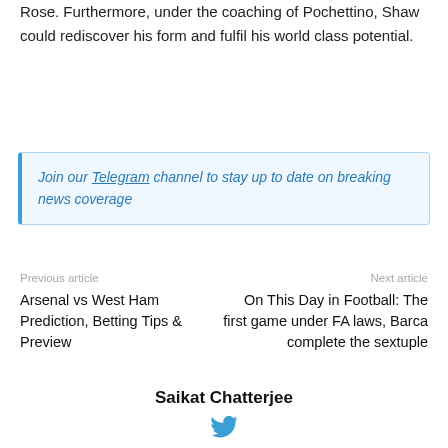Rose. Furthermore, under the coaching of Pochettino, Shaw could rediscover his form and fulfil his world class potential.
Join our Telegram channel to stay up to date on breaking news coverage
Previous article
Next article
Arsenal vs West Ham Prediction, Betting Tips & Preview
On This Day in Football: The first game under FA laws, Barca complete the sextuple
Saikat Chatterjee